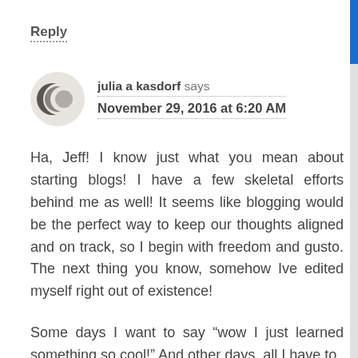Reply
julia a kasdorf says
November 29, 2016 at 6:20 AM
Ha, Jeff! I know just what you mean about starting blogs! I have a few skeletal efforts behind me as well! It seems like blogging would be the perfect way to keep our thoughts aligned and on track, so I begin with freedom and gusto. The next thing you know, somehow Ive edited myself right out of existence!
Some days I want to say “wow I just learned something so cool!” And other days, all I have to